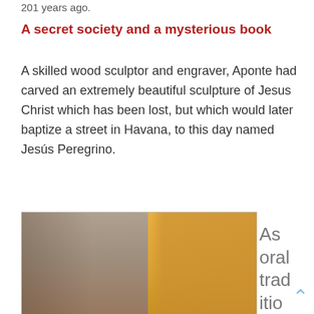201 years ago.
A secret society and a mysterious book
A skilled wood sculptor and engraver, Aponte had carved an extremely beautiful sculpture of Jesus Christ which has been lost, but which would later baptize a street in Havana, to this day named Jesús Peregrino.
[Figure (photo): Street view of Havana with old buildings, one with yellow/orange facade on the right side]
As oral tradition